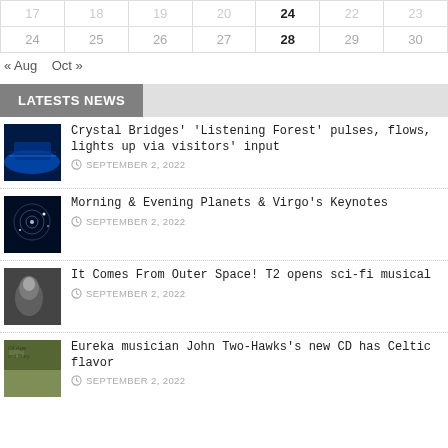|  |  |  |  |  |  |  |
| --- | --- | --- | --- | --- | --- | --- |
| 24 | 25 | 26 | 27 | 28 | 29 | 30 |
« Aug   Oct »
LATESTS NEWS
Crystal Bridges' 'Listening Forest' pulses, flows, lights up via visitors' input
SEPTEMBER 2, 2022
Morning & Evening Planets & Virgo's Keynotes
SEPTEMBER 2, 2022
It Comes From Outer Space! T2 opens sci-fi musical
SEPTEMBER 2, 2022
Eureka musician John Two-Hawks's new CD has Celtic flavor
SEPTEMBER 2, 2022